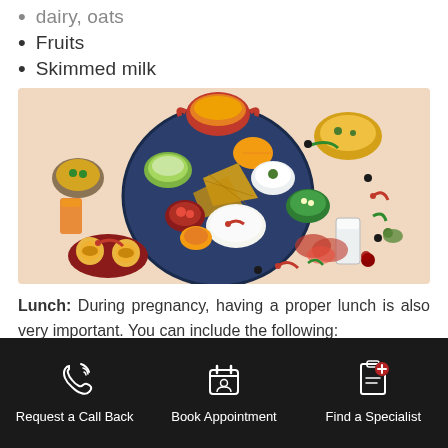dairy, oats
Fruits
Skimmed milk
[Figure (illustration): Illustrated Indian thali meal plate with various dishes including curries, bread, rice, salads, desserts, and beverages arranged on a light peach background.]
Lunch: During pregnancy, having a proper lunch is also very important. You can include the following:
Request a Call Back   Book Appointment   Find a Specialist